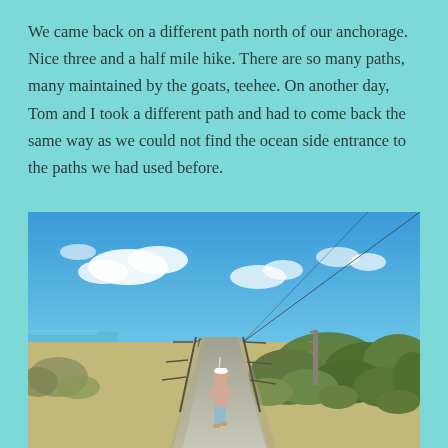We came back on a different path north of our anchorage. Nice three and a half mile hike. There are so many paths, many maintained by the goats, teehee. On another day, Tom and I took a different path and had to come back the same way as we could not find the ocean side entrance to the paths we had used before.
[Figure (photo): A person walking on a paved road in a sunny tropical/coastal landscape. Blue sky with scattered white clouds above. Telephone poles line the road. Low scrubby vegetation on right side. Ocean visible in the distance on the left. The person is wearing a white cap, light pink shirt, and blue shorts.]